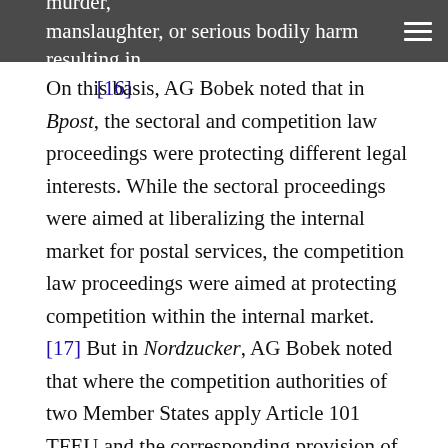whether national law defines the act as murder, manslaughter, or serious bodily harm resulting in death.[16]
On this basis, AG Bobek noted that in Bpost, the sectoral and competition law proceedings were protecting different legal interests. While the sectoral proceedings were aimed at liberalizing the internal market for postal services, the competition law proceedings were aimed at protecting competition within the internal market.[17] But in Nordzucker, AG Bobek noted that where the competition authorities of two Member States apply Article 101 TFEU and the corresponding provision of national law, it appears that they protect the same legal interest